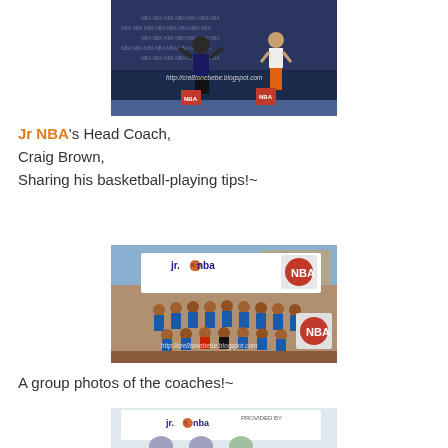[Figure (photo): Two people on a stage with NBA-branded backdrop; one person in black outfit raising arms, another in white shirt and orange shorts]
Jr NBA's Head Coach,
Craig Brown,
Sharing his basketball-playing tips!~
[Figure (photo): Group photo of coaches in blue Jr. NBA t-shirts in front of a Jr. NBA banner with NBA logo, outdoors on a brick court]
A group photos of the coaches!~
[Figure (photo): Partial view of people in front of a Jr. NBA banner]